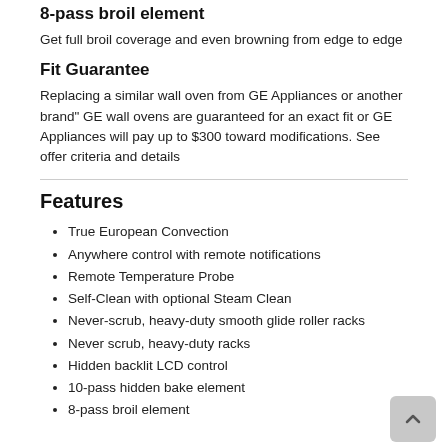8-pass broil element
Get full broil coverage and even browning from edge to edge
Fit Guarantee
Replacing a similar wall oven from GE Appliances or another brand" GE wall ovens are guaranteed for an exact fit or GE Appliances will pay up to $300 toward modifications. See offer criteria and details
Features
True European Convection
Anywhere control with remote notifications
Remote Temperature Probe
Self-Clean with optional Steam Clean
Never-scrub, heavy-duty smooth glide roller racks
Never scrub, heavy-duty racks
Hidden backlit LCD control
10-pass hidden bake element
8-pass broil element